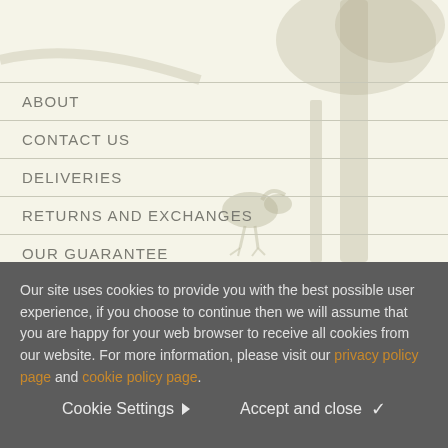ABOUT
CONTACT US
DELIVERIES
RETURNS AND EXCHANGES
OUR GUARANTEE
SIZING GUIDE
WATERPROOF GUIDE
Our site uses cookies to provide you with the best possible user experience, if you choose to continue then we will assume that you are happy for your web browser to receive all cookies from our website. For more information, please visit our privacy policy page and cookie policy page.
Cookie Settings  Accept and close